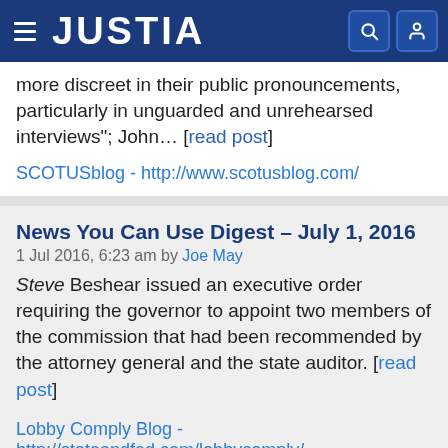JUSTIA
more discreet in their public pronouncements, particularly in unguarded and unrehearsed interviews"; John... [read post]
SCOTUSblog - http://www.scotusblog.com/
News You Can Use Digest – July 1, 2016
1 Jul 2016, 6:23 am by Joe May
Steve Beshear issued an executive order requiring the governor to appoint two members of the commission that had been recommended by the attorney general and the state auditor. [read post]
Lobby Comply Blog - http://stateandfed.com/lobbycomply/